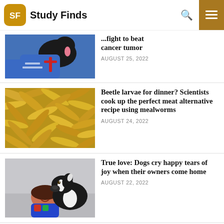Study Finds
[Figure (photo): Person in blue shirt holding a black dog with a pink tongue]
...fight to beat cancer tumor
AUGUST 25, 2022
[Figure (photo): Close-up of many golden mealworms/beetle larvae]
Beetle larvae for dinner? Scientists cook up the perfect meat alternative recipe using mealworms
AUGUST 24, 2022
[Figure (photo): Woman lying on ground smiling with a black and white dog looking at her]
True love: Dogs cry happy tears of joy when their owners come home
AUGUST 22, 2022
Comments